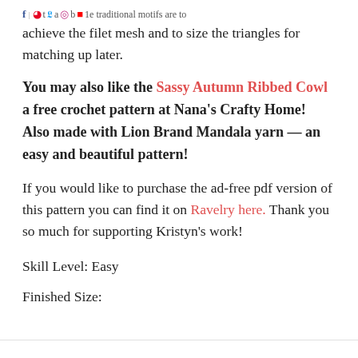...e traditional motifs are to achieve the filet mesh and to size the triangles for matching up later.
You may also like the Sassy Autumn Ribbed Cowl a free crochet pattern at Nana's Crafty Home!  Also made with Lion Brand Mandala yarn — an easy and beautiful pattern!
If you would like to purchase the ad-free pdf version of this pattern you can find it on Ravelry here.  Thank you so much for supporting Kristyn's work!
Skill Level:  Easy
Finished Size: